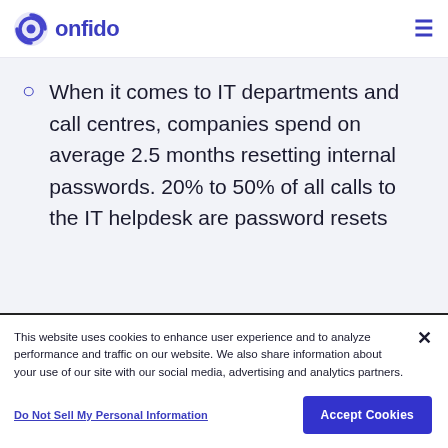[Figure (logo): Onfido logo: circular icon with blue concentric design and word 'onfido' in blue]
When it comes to IT departments and call centres, companies spend on average 2.5 months resetting internal passwords. 20% to 50% of all calls to the IT helpdesk are password resets
This website uses cookies to enhance user experience and to analyze performance and traffic on our website. We also share information about your use of our site with our social media, advertising and analytics partners.
Do Not Sell My Personal Information
Accept Cookies